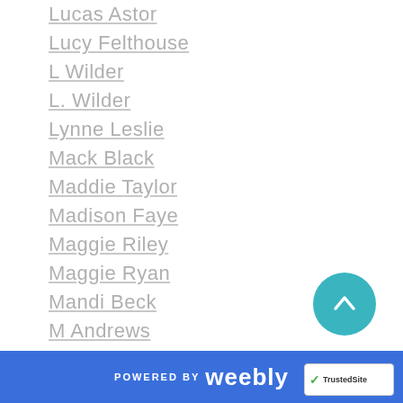Lucas Astor
Lucy Felthouse
L Wilder
L. Wilder
Lynne Leslie
Mack Black
Maddie Taylor
Madison Faye
Maggie Riley
Maggie Ryan
Mandi Beck
M Andrews
Mara White
Margaret McHeyzer
Maria La Serra
Maria Monroe
Maria Vickers
POWERED BY weebly